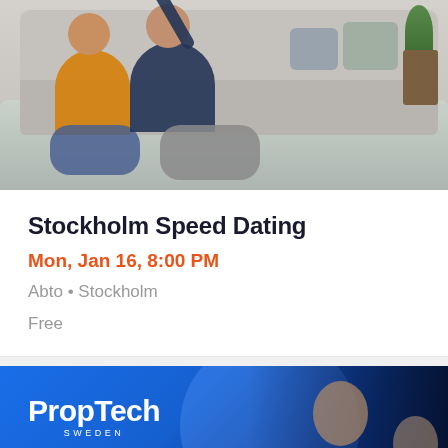[Figure (photo): A couple sitting on the floor in front of a grey sofa in a living room. The woman wears a yellow/orange top and jeans, the man wears a dark shirt and grey pants. There are pillows on the sofa and a plant in the corner.]
Stockholm Speed Dating
Mon, Jan 16, 8:00 PM
Abto • Stockholm
Free
[Figure (logo): PropTech Sweden logo on a blue background with a person visible on the right side]